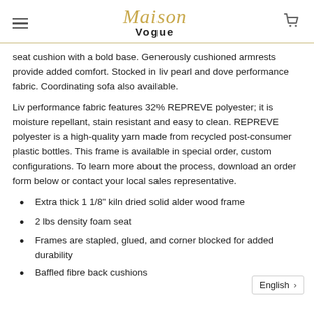Maison Vogue
seat cushion with a bold base. Generously cushioned armrests provide added comfort. Stocked in liv pearl and dove performance fabric. Coordinating sofa also available.
Liv performance fabric features 32% REPREVE polyester; it is moisture repellant, stain resistant and easy to clean. REPREVE polyester is a high-quality yarn made from recycled post-consumer plastic bottles. This frame is available in special order, custom configurations. To learn more about the process, download an order form below or contact your local sales representative.
Extra thick 1 1/8" kiln dried solid alder wood frame
2 lbs density foam seat
Frames are stapled, glued, and corner blocked for added durability
Baffled fibre back cushions